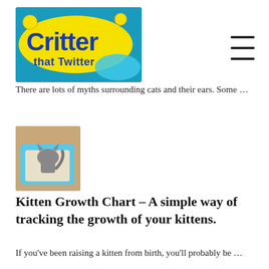[Figure (logo): Critter That Twitter logo — yellow oval with blue cartoon text on teal background with cartoon animals]
There are lots of myths surrounding cats and their ears. Some …
[Figure (photo): Cat using a blue litter box, viewed from above]
Kitten Growth Chart – A simple way of tracking the growth of your kittens.
If you've been raising a kitten from birth, you'll probably be …